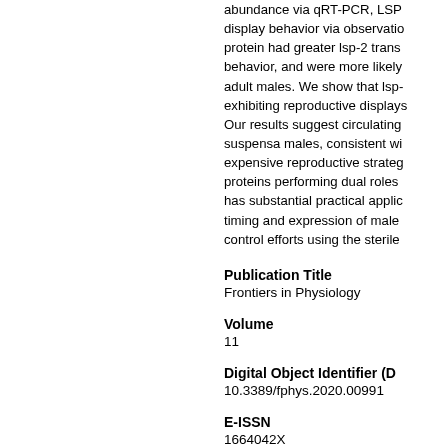abundance via qRT-PCR, LSP display behavior via observation, protein had greater lsp-2 transcript, behavior, and were more likely adult males. We show that lsp- exhibiting reproductive displays. Our results suggest circulating suspensa males, consistent with expensive reproductive strategy, proteins performing dual roles has substantial practical applications, timing and expression of male control efforts using the sterile
Publication Title
Frontiers in Physiology
Volume
11
Digital Object Identifier (DOI)
10.3389/fphys.2020.00991
E-ISSN
1664042X